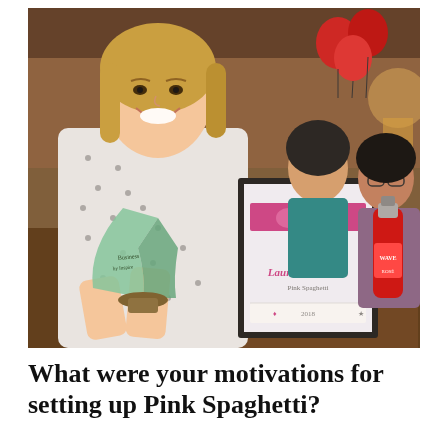[Figure (photo): A smiling woman with blonde hair holding a glass trophy award and standing next to a framed certificate (award certificate reading 'Laura Dodsworth') on a table. Behind her are two other people and red heart-shaped balloons near a brick wall. On the table is a red bottle labeled 'WAVE'. The setting appears to be an indoor award ceremony or celebration.]
What were your motivations for setting up Pink Spaghetti?